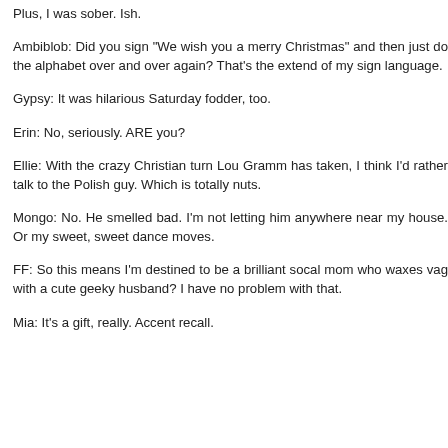Plus, I was sober. Ish.
Ambiblob: Did you sign "We wish you a merry Christmas" and then just do the alphabet over and over again? That's the extend of my sign language.
Gypsy: It was hilarious Saturday fodder, too.
Erin: No, seriously. ARE you?
Ellie: With the crazy Christian turn Lou Gramm has taken, I think I'd rather talk to the Polish guy. Which is totally nuts.
Mongo: No. He smelled bad. I'm not letting him anywhere near my house. Or my sweet, sweet dance moves.
FF: So this means I'm destined to be a brilliant socal mom who waxes vag with a cute geeky husband? I have no problem with that.
Mia: It's a gift, really. Accent recall.